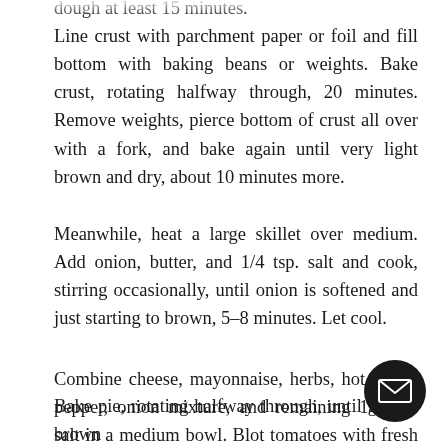dough at least 15 minutes. Line crust with parchment paper or foil and fill bottom with baking beans or weights. Bake crust, rotating halfway through, 20 minutes. Remove weights, pierce bottom of crust all over with a fork, and bake again until very light brown and dry, about 10 minutes more.
Meanwhile, heat a large skillet over medium. Add onion, butter, and 1/4 tsp. salt and cook, stirring occasionally, until onion is softened and just starting to brown, 5–8 minutes. Let cool.
Combine cheese, mayonnaise, herbs, hot sauce, pepper, onion mixture, and remaining 1/4 tsp. salt in a medium bowl. Blot tomatoes with fresh paper towels to remove as much remaining moisture as possible. Arrange tomato slices in pie shell and top with [cheese mixture, spreading] smooth.
Bake pie, rotating halfway through, until golden brown